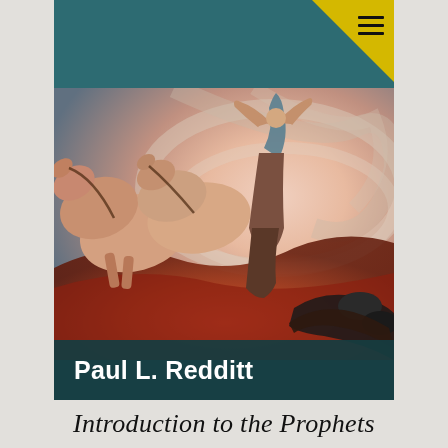[Figure (illustration): Book cover showing a dramatic painting of horses ascending into a whirlwind/fire with a figure reaching upward and another figure prostrate below. The cover has a teal/dark green header band at top, with a gold corner tab bearing a hamburger menu icon. Author name 'Paul L. Redditt' appears in a dark teal band at the bottom of the cover image.]
Introduction to the Prophets